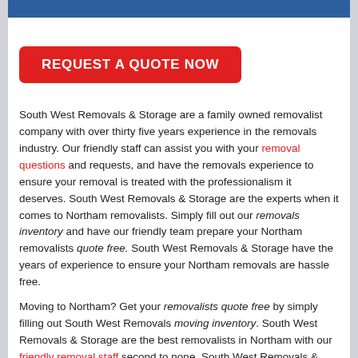[Figure (other): Blue top navigation bar]
REQUEST A QUOTE NOW
South West Removals & Storage are a family owned removalist company with over thirty five years experience in the removals industry. Our friendly staff can assist you with your removal questions and requests, and have the removals experience to ensure your removal is treated with the professionalism it deserves. South West Removals & Storage are the experts when it comes to Northam removalists. Simply fill out our removals inventory and have our friendly team prepare your Northam removalists quote free. South West Removals & Storage have the years of experience to ensure your Northam removals are hassle free.
Moving to Northam? Get your removalists quote free by simply filling out South West Removals moving inventory. South West Removals & Storage are the best removalists in Northam with our friendly removal staff second to none. South West Removals & Storage has the